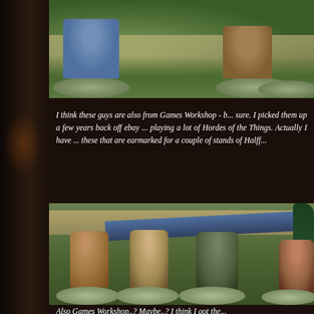[Figure (photo): Top portion of a photo showing painted miniature figures (fantasy/wargaming) on scenic bases with grass tufts, sandy ground, and green terrain. Figures appear to be dwarves or similar fantasy creatures with shields.]
I think these guys are also from Games Workshop - b... sure. I picked them up a few years back off ebay ... playing a lot of Hordes of the Things. Actually I have ... these that are earmarked for a couple of stands of Halff...
[Figure (photo): Photo of four painted miniature figures (halflings/hobbits) on round scenic bases with green grass terrain and a blue river strip in the background. Figures carry bows and appear to be fantasy archer miniatures, likely Games Workshop or similar manufacturer.]
Also Games Workshop..? Maybe..? I think I got the...